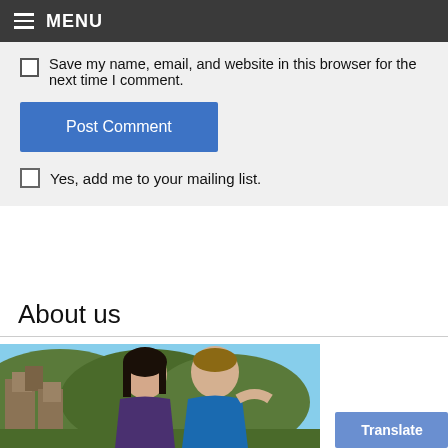MENU
Save my name, email, and website in this browser for the next time I comment.
Post Comment
Yes, add me to your mailing list.
About us
[Figure (photo): A couple smiling outdoors with forested rocky landscape in background. Woman on left with dark hair, man on right in blue shirt.]
Translate